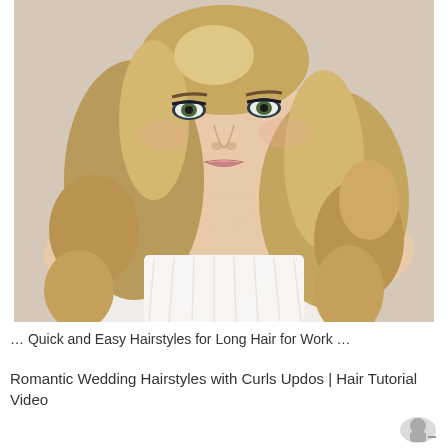[Figure (photo): Professional photo of a young woman with long, voluminous blonde curly hair wearing a white strapless dress, likely a wedding gown. She has dramatic eye makeup and is posed against a light beige background.]
… Quick and Easy Hairstyles for Long Hair for Work …
Romantic Wedding Hairstyles with Curls Updos | Hair Tutorial Video